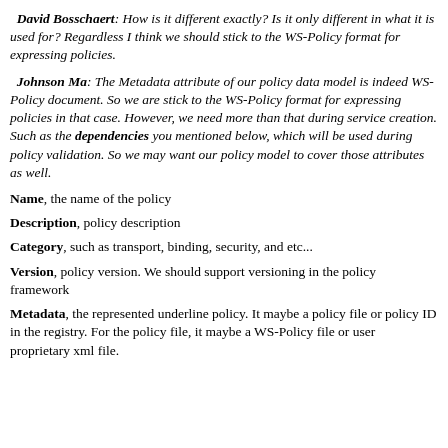David Bosschaert: How is it different exactly? Is it only different in what it is used for? Regardless I think we should stick to the WS-Policy format for expressing policies.
Johnson Ma: The Metadata attribute of our policy data model is indeed WS-Policy document. So we are stick to the WS-Policy format for expressing policies in that case. However, we need more than that during service creation. Such as the dependencies you mentioned below, which will be used during policy validation. So we may want our policy model to cover those attributes as well.
Name, the name of the policy
Description, policy description
Category, such as transport, binding, security, and etc...
Version, policy version. We should support versioning in the policy framework
Metadata, the represented underline policy. It maybe a policy file or policy ID in the registry. For the policy file, it maybe a WS-Policy file or user proprietary xml file.